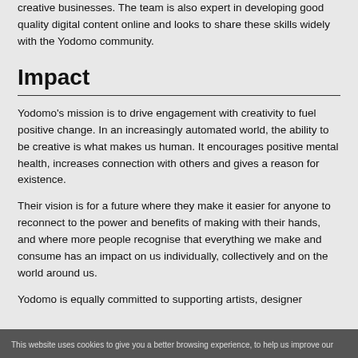creative businesses. The team is also expert in developing good quality digital content online and looks to share these skills widely with the Yodomo community.
Impact
Yodomo's mission is to drive engagement with creativity to fuel positive change. In an increasingly automated world, the ability to be creative is what makes us human. It encourages positive mental health, increases connection with others and gives a reason for existence.
Their vision is for a future where they make it easier for anyone to reconnect to the power and benefits of making with their hands, and where more people recognise that everything we make and consume has an impact on us individually, collectively and on the world around us.
Yodomo is equally committed to supporting artists, designers
This website uses cookies to give you a better browsing experience, to help us improve our